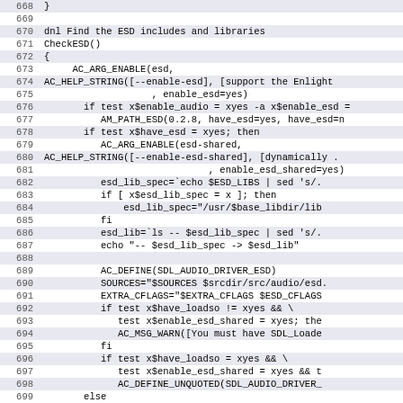Source code listing lines 668-699, shell/autoconf script for ESD audio library detection